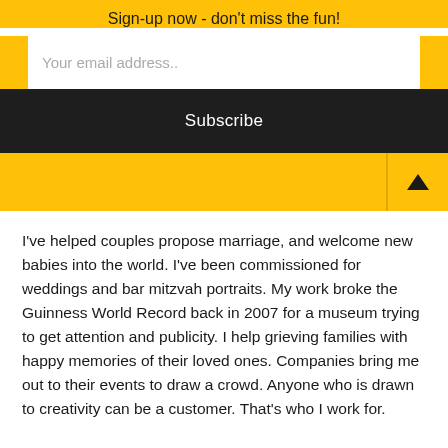Sign-up now - don't miss the fun!
Your email address..
Subscribe
I've helped couples propose marriage, and welcome new babies into the world. I've been commissioned for weddings and bar mitzvah portraits. My work broke the Guinness World Record back in 2007 for a museum trying to get attention and publicity. I help grieving families with happy memories of their loved ones. Companies bring me out to their events to draw a crowd. Anyone who is drawn to creativity can be a customer. That's who I work for.